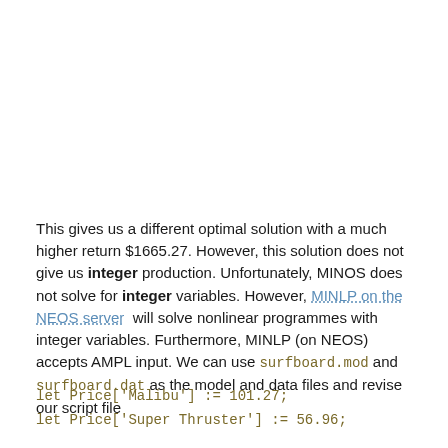This gives us a different optimal solution with a much higher return $1665.27. However, this solution does not give us integer production. Unfortunately, MINOS does not solve for integer variables. However, MINLP on the NEOS server will solve nonlinear programmes with integer variables. Furthermore, MINLP (on NEOS) accepts AMPL input. We can use surfboard.mod and surfboard.dat as the model and data files and revise our script file
let Price['Malibu'] := 101.27;
let Price['Super Thruster'] := 56.96;